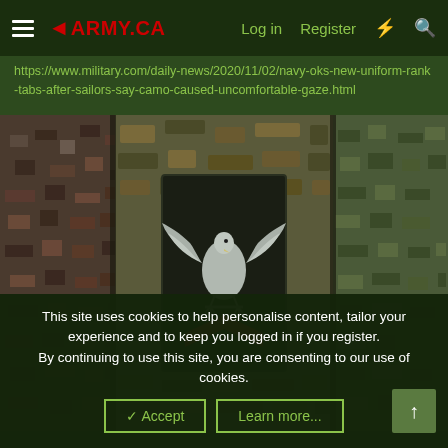ARMY.CA | Log in | Register
https://www.military.com/daily-news/2020/11/02/navy-oks-new-uniform-rank-tabs-after-sailors-say-camo-caused-uncomfortable-gaze.html
[Figure (photo): Close-up photograph of military camouflage uniforms showing a Navy rank tab/patch on a dark background. The patch displays a silver eagle with outstretched wings (Petty Officer insignia) and a red chevron below it. Surrounding fabric shows various camouflage patterns including a pixelated digital camo pattern.]
This site uses cookies to help personalise content, tailor your experience and to keep you logged in if you register.
By continuing to use this site, you are consenting to our use of cookies.